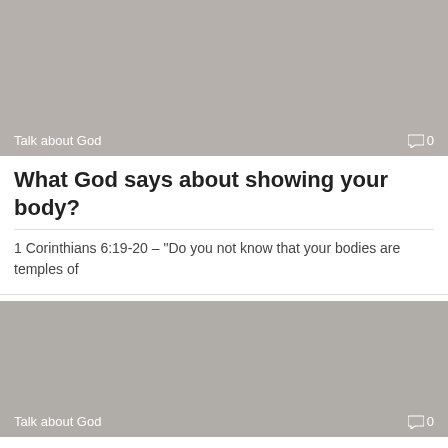[Figure (photo): Gray placeholder image for article thumbnail with 'Talk about God' label and comment count '0' at bottom]
What God says about showing your body?
1 Corinthians 6:19-20 – "Do you not know that your bodies are temples of
[Figure (photo): Gray placeholder image for article thumbnail with 'Talk about God' label and comment count '0' at bottom]
Does the Catholic Church teach the